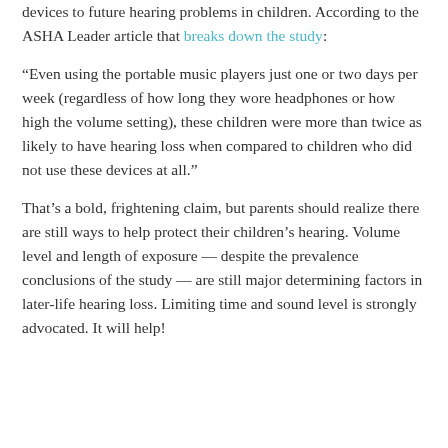devices to future hearing problems in children. According to the ASHA Leader article that breaks down the study:
“Even using the portable music players just one or two days per week (regardless of how long they wore headphones or how high the volume setting), these children were more than twice as likely to have hearing loss when compared to children who did not use these devices at all.”
That’s a bold, frightening claim, but parents should realize there are still ways to help protect their children’s hearing. Volume level and length of exposure — despite the prevalence conclusions of the study — are still major determining factors in later-life hearing loss. Limiting time and sound level is strongly advocated. It will help!